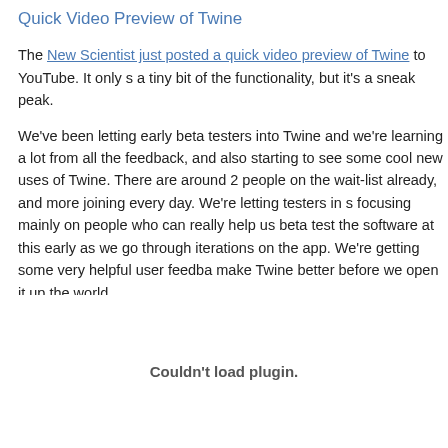Quick Video Preview of Twine
The New Scientist just posted a quick video preview of Twine to YouTube. It only shows a tiny bit of the functionality, but it's a sneak peak.
We've been letting early beta testers into Twine and we're learning a lot from all the feedback, and also starting to see some cool new uses of Twine. There are around 2 people on the wait-list already, and more joining every day. We're letting testers in s focusing mainly on people who can really help us beta test the software at this early as we go through iterations on the app. We're getting some very helpful user feedba make Twine better before we open it up the world.
For now, here's a quick video preview:
[Figure (other): Couldn't load plugin. Area where a video plugin embed would appear.]